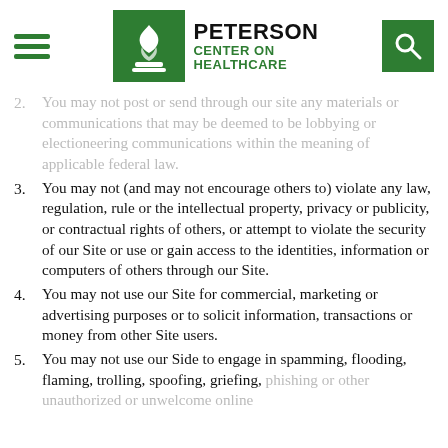Peterson Center on Healthcare
2. You may not post or send through our site any materials or communications that may be deemed to be lobbying or electioneering communications within the meaning of applicable federal law.
3. You may not (and may not encourage others to) violate any law, regulation, rule or the intellectual property, privacy or publicity, or contractual rights of others, or attempt to violate the security of our Site or use or gain access to the identities, information or computers of others through our Site.
4. You may not use our Site for commercial, marketing or advertising purposes or to solicit information, transactions or money from other Site users.
5. You may not use our Side to engage in spamming, flooding, flaming, trolling, spoofing, griefing, phishing or other unauthorized or unwelcome online...